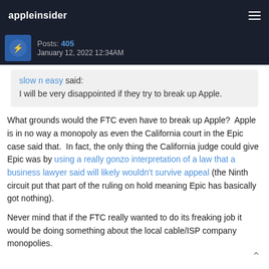appleinsider
Posts: 405
January 12, 2022 12:34AM
slow n easy said:
I will be very disappointed if they try to break up Apple.
What grounds would the FTC even have to break up Apple?  Apple is in no way a monopoly as even the California court in the Epic case said that.  In fact, the only thing the California judge could give Epic was by using a really gonzo interpretation of a law that a business lawyer said will likely wouldn't survive appeal (the Ninth circuit put that part of the ruling on hold meaning Epic has basically got nothing).
Never mind that if the FTC really wanted to do its freaking job it would be doing something about the local cable/ISP company monopolies.